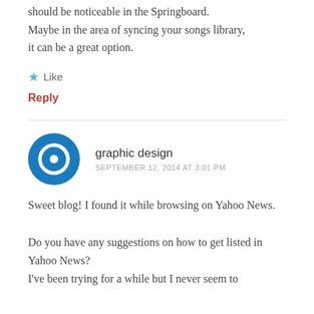should be noticeable in the Springboard. Maybe in the area of syncing your songs library, it can be a great option.
Like
Reply
graphic design
SEPTEMBER 12, 2014 AT 3:01 PM
Sweet blog! I found it while browsing on Yahoo News.
Do you have any suggestions on how to get listed in Yahoo News? I've been trying for a while but I never seem to